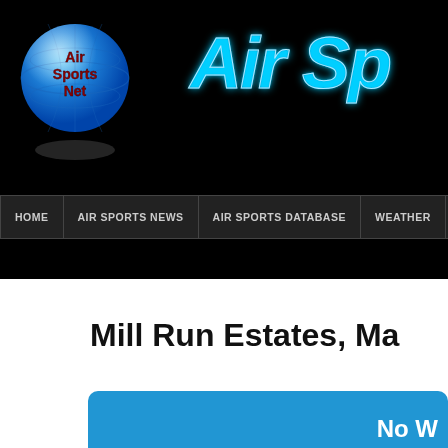[Figure (logo): Air Sports Net logo: blue globe with 'Air Sports Net' text in dark red/maroon, with shadow beneath]
Air Sp
HOME | AIR SPORTS NEWS | AIR SPORTS DATABASE | WEATHER | FIND A
Mill Run Estates, Ma
No W